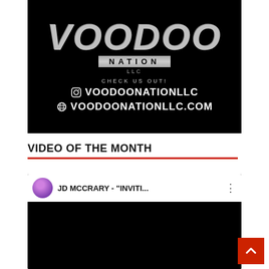[Figure (logo): Voodoo Nation LLC logo on black background with social media handles: Instagram @VOODOONATIONLLC and website VOODOONATIONLLC.COM]
VIDEO OF THE MONTH
[Figure (screenshot): YouTube video embed showing JD MCCRARY - 'INVITI...' with user avatar thumbnail and black video background]